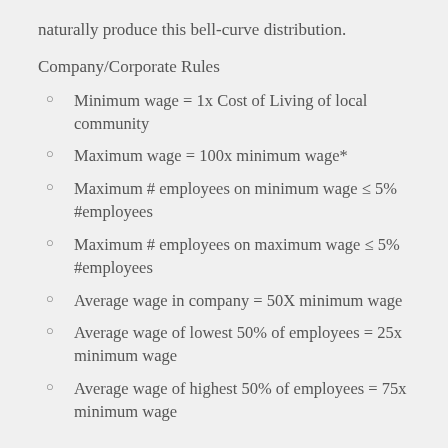naturally produce this bell-curve distribution.
Company/Corporate Rules
Minimum wage = 1x Cost of Living of local community
Maximum wage = 100x minimum wage*
Maximum # employees on minimum wage ≤ 5% #employees
Maximum # employees on maximum wage ≤ 5% #employees
Average wage in company = 50X minimum wage
Average wage of lowest 50% of employees = 25x minimum wage
Average wage of highest 50% of employees = 75x minimum wage